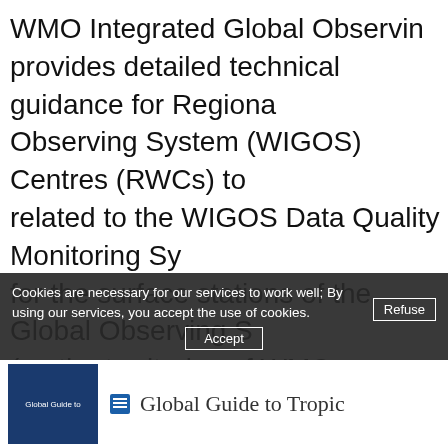WMO Integrated Global Observing System provides detailed technical guidance for Regional Observing System (WIGOS) Centres (RWCs) to related to the WIGOS Data Quality Monitoring System for the surface stations of the Global Observing System (on the territories of WMO Regional Association guidelines describe the three main functions of WMO evaluation and incident management), as well as
English, French, Spanish, Russian, Arabic, Chinese
Cookies are necessary for our services to work well; By using our services, you accept the use of cookies.
Global Guide to Tropi